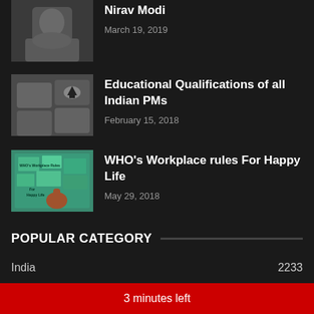[Figure (photo): Photo of Nirav Modi, a man in a grey jacket]
Nirav Modi
March 19, 2019
[Figure (photo): Image of a keyboard with a graduation cap key representing education]
Educational Qualifications of all Indian PMs
February 15, 2018
[Figure (photo): Image with text WHO's Workplace Rules For Happy Life with a hand holding sticky notes]
WHO's Workplace rules For Happy Life
May 29, 2018
POPULAR CATEGORY
India 2233
International 1114
Hindi 564
Politics 542
3 minutes left